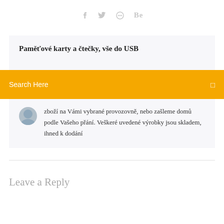f  🐦  ⊛  Be
Paměťové karty a čtečky, vše do USB
Search Here
zboží na Vámi vybrané provozovně, nebo zašleme domů podle Vašeho přání. Veškeré uvedené výrobky jsou skladem, ihned k dodání
Leave a Reply